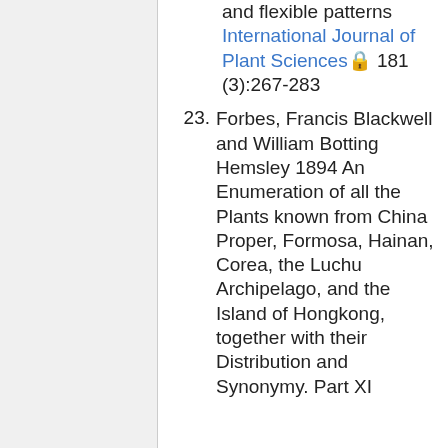and flexible patterns International Journal of Plant Sciences 🔒 181 (3):267-283
23. Forbes, Francis Blackwell and William Botting Hemsley 1894 An Enumeration of all the Plants known from China Proper, Formosa, Hainan, Corea, the Luchu Archipelago, and the Island of Hongkong, together with their Distribution and Synonymy. Part XI